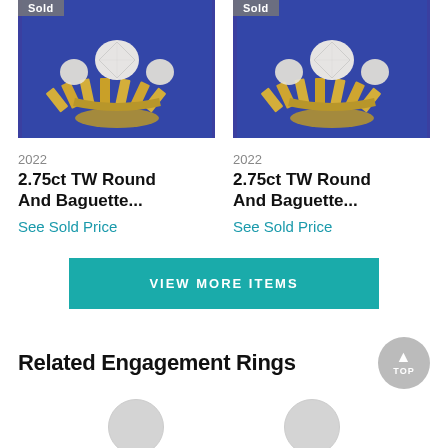[Figure (photo): Photo of diamond ring with 'Sold' badge, gold setting with round and baguette diamonds on blue background]
[Figure (photo): Photo of diamond ring with 'Sold' badge, gold setting with round and baguette diamonds on blue background]
2022
2.75ct TW Round And Baguette...
See Sold Price
2022
2.75ct TW Round And Baguette...
See Sold Price
VIEW MORE ITEMS
Related Engagement Rings